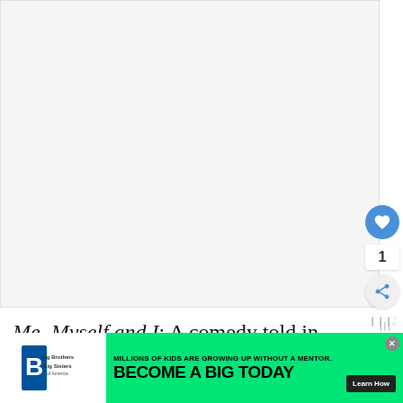[Figure (illustration): Large light grey blank image area occupying upper portion of the page, with social interaction buttons (like heart button in blue, count of 1, share button) on the right side and Wattpad logo watermark]
Me, Myself and I: A comedy told in three time pe...a 14-
[Figure (infographic): Advertisement bar at bottom: Big Brothers Big Sisters logo on left, green background with text 'MILLIONS OF KIDS ARE GROWING UP WITHOUT A MENTOR. BECOME A BIG TODAY' and a 'Learn How' button on dark background. Close X button top right.]